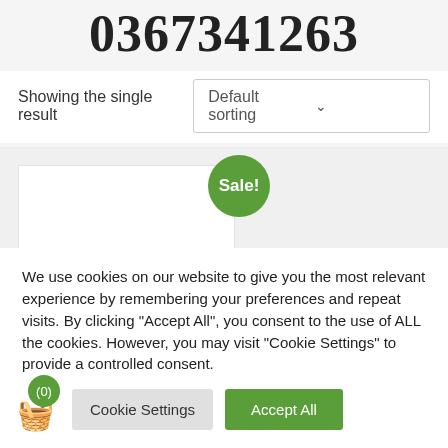0367341263
Showing the single result
[Figure (screenshot): Default sorting dropdown selector]
[Figure (screenshot): Product card with Sale! badge in green circle, on grey background]
We use cookies on our website to give you the most relevant experience by remembering your preferences and repeat visits. By clicking "Accept All", you consent to the use of ALL the cookies. However, you may visit "Cookie Settings" to provide a controlled consent.
Cookie Settings
Accept All